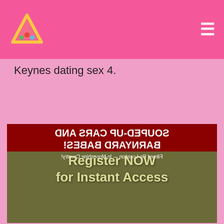Keynes dating sex 4.
[Figure (photo): A movie poster shown mirrored/flipped horizontally for a film about souped-up cars and barnyard babes, filmed on location in Moonshine Country, shown in color. Overlaid text reads 'Register NOW for Instant Access']